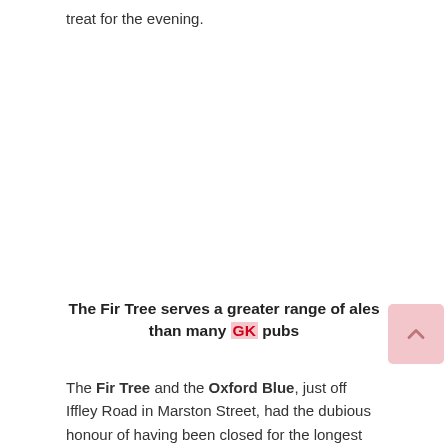treat for the evening.
The Fir Tree serves a greater range of ales than many GK pubs
The Fir Tree and the Oxford Blue, just off Iffley Road in Marston Street, had the dubious honour of having been closed for the longest period following the March 2020